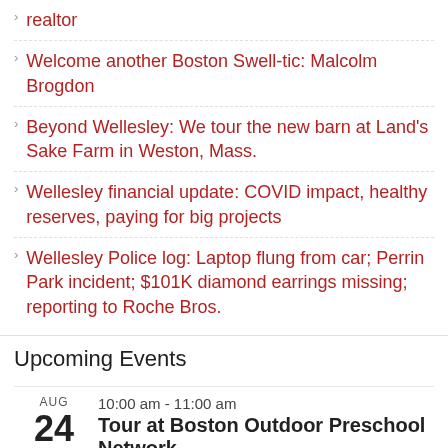realtor
Welcome another Boston Swell-tic: Malcolm Brogdon
Beyond Wellesley: We tour the new barn at Land's Sake Farm in Weston, Mass.
Wellesley financial update: COVID impact, healthy reserves, paying for big projects
Wellesley Police log: Laptop flung from car; Perrin Park incident; $101K diamond earrings missing; reporting to Roche Bros.
Upcoming Events
AUG 24  10:00 am - 11:00 am  Tour at Boston Outdoor Preschool Network
AUG  10:00 am - 5:00